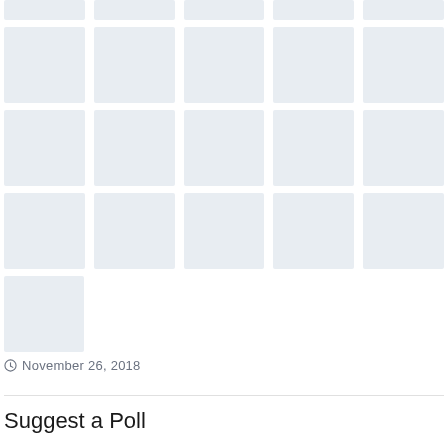[Figure (other): Grid of placeholder image thumbnail rectangles arranged in 5 columns and 5 rows, with light blue-grey background color, representing loading placeholders for images]
November 26, 2018
Suggest a Poll